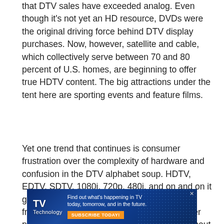that DTV sales have exceeded analog. Even though it's not yet an HD resource, DVDs were the original driving force behind DTV display purchases. Now, however, satellite and cable, which collectively serve between 70 and 80 percent of U.S. homes, are beginning to offer true HDTV content. The big attractions under the tent here are sporting events and feature films.
Yet one trend that continues is consumer frustration over the complexity of hardware and confusion in the DTV alphabet soup. HDTV, EDTV, SDTV, 1080i, 720p, 480i, and on and on it goes. Will cable carry HD content originating from local stations? Will the local stations ever produce their own HD content at all? What about satellite?
[Figure (illustration): TVTechnology advertisement banner with dark blue background featuring dot pattern. Left side shows 'TVTechnology' logo in white bold text. Right side shows tagline 'Find out what's happening in TV today, tomorrow, and in the future.' with an orange 'SUBSCRIBE TODAY!' button. Small X close button in top right corner.]